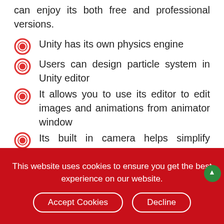can enjoy its both free and professional versions.
Unity has its own physics engine
Users can design particle system in Unity editor
It allows you to use its editor to edit images and animations from animator window
Its built in camera helps simplify navigation in the game world
To view features easily, Unity has UI
This website uses cookies to ensure you get the best experience on our website.